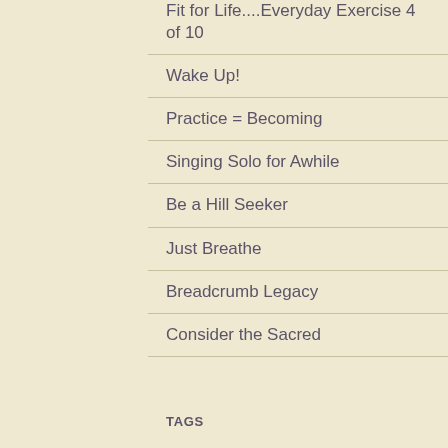Fit for Life....Everyday Exercise 4 of 10
Wake Up!
Practice = Becoming
Singing Solo for Awhile
Be a Hill Seeker
Just Breathe
Breadcrumb Legacy
Consider the Sacred
TAGS